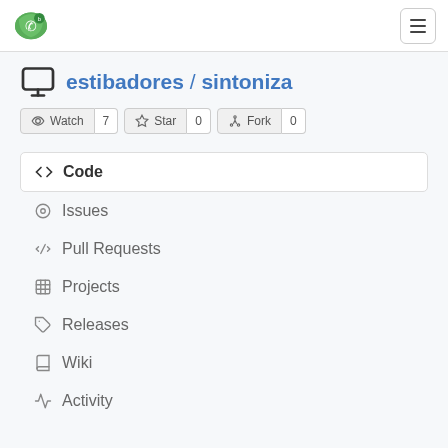[Figure (logo): Gitea green logo in top-left of navigation bar]
estibadores / sintoniza
Watch 7  Star 0  Fork 0
Code
Issues
Pull Requests
Projects
Releases
Wiki
Activity